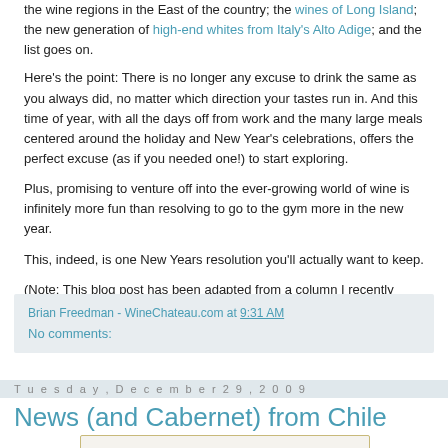the wine regions in the East of the country; the wines of Long Island; the new generation of high-end whites from Italy's Alto Adige; and the list goes on.
Here's the point: There is no longer any excuse to drink the same as you always did, no matter which direction your tastes run in. And this time of year, with all the days off from work and the many large meals centered around the holiday and New Year's celebrations, offers the perfect excuse (as if you needed one!) to start exploring.
Plus, promising to venture off into the ever-growing world of wine is infinitely more fun than resolving to go to the gym more in the new year.
This, indeed, is one New Years resolution you'll actually want to keep.
(Note: This blog post has been adapted from a column I recently wrote for Affluent Magazine.)
Brian Freedman - WineChateau.com at 9:31 AM
No comments:
Tuesday, December 29, 2009
News (and Cabernet) from Chile
[Figure (photo): Wine bottle label showing RESERVE text]